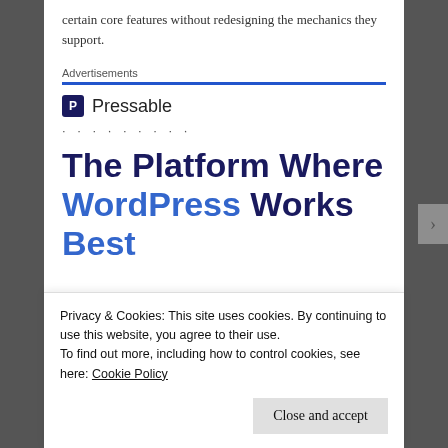certain core features without redesigning the mechanics they support.
Advertisements
[Figure (logo): Pressable logo with icon and name, followed by dots, and heading 'The Platform Where WordPress Works Best']
Privacy & Cookies: This site uses cookies. By continuing to use this website, you agree to their use.
To find out more, including how to control cookies, see here: Cookie Policy